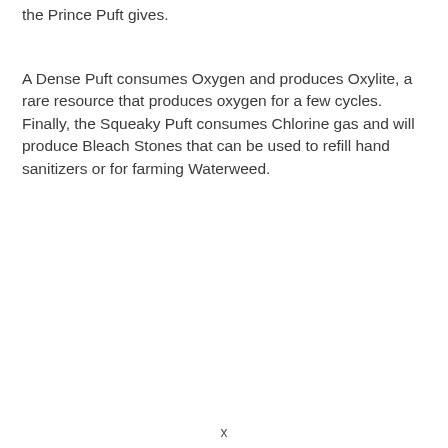the Prince Puft gives.
A Dense Puft consumes Oxygen and produces Oxylite, a rare resource that produces oxygen for a few cycles. Finally, the Squeaky Puft consumes Chlorine gas and will produce Bleach Stones that can be used to refill hand sanitizers or for farming Waterweed.
x